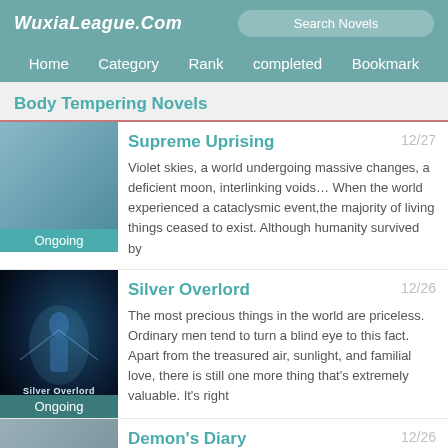WuxiaLeague.Com
Body Tempering Novels
Supreme Uprising
Violet skies, a world undergoing massive changes, a deficient moon, interlinking voids… When the world experienced a cataclysmic event,the majority of living things ceased to exist. Although humanity survived by
Silver Overlord
The most precious things in the world are priceless. Ordinary men tend to turn a blind eye to this fact. Apart from the treasured air, sunlight, and familial love, there is still one more thing that's extremely valuable. It's right
Demon's Diary
Liu Ming, since he was young, lived in a savage prison named Savage Island where the prisoners aren't controlled by any guard or security. When the island sinks due to